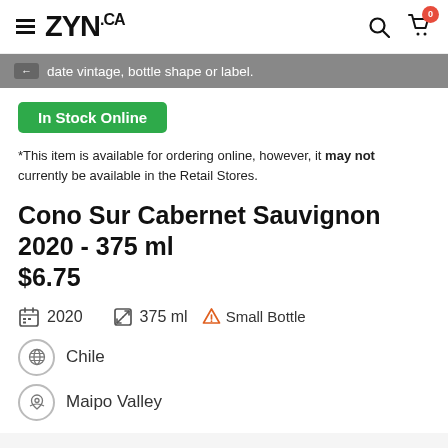ZYN.CA
date vintage, bottle shape or label.
In Stock Online
*This item is available for ordering online, however, it may not currently be available in the Retail Stores.
Cono Sur Cabernet Sauvignon 2020 - 375 ml
$6.75
2020   375 ml   Small Bottle
Chile
Maipo Valley